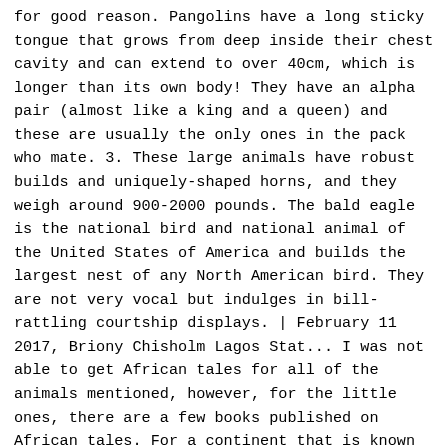for good reason. Pangolins have a long sticky tongue that grows from deep inside their chest cavity and can extend to over 40cm, which is longer than its own body! They have an alpha pair (almost like a king and a queen) and these are usually the only ones in the pack who mate. 3. These large animals have robust builds and uniquely-shaped horns, and they weigh around 900-2000 pounds. The bald eagle is the national bird and national animal of the United States of America and builds the largest nest of any North American bird. They are not very vocal but indulges in bill-rattling courtship displays. | February 11 2017, Briony Chisholm Lagos Stat... I was not able to get African tales for all of the animals mentioned, however, for the little ones, there are a few books published on African tales. For a continent that is known for its amazing wildlife, these are the biggest of the big. So-called because of their rather long and flexible noses which look similar to the elephant's trunk. This has a lot to do with the fact that other animals usually show some warning signs before they attack. Spiral horned and standing 1 m 80 tall, these beautiful